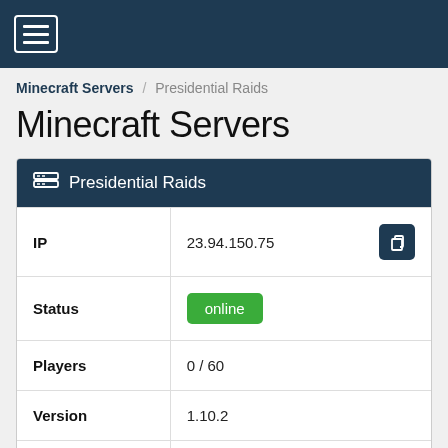☰ (hamburger menu)
Minecraft Servers / Presidential Raids
Minecraft Servers
Presidential Raids
| Field | Value |
| --- | --- |
| IP | 23.94.150.75 |
| Status | online |
| Players | 0 / 60 |
| Version | 1.10.2 |
| Owner | Unclaimed |